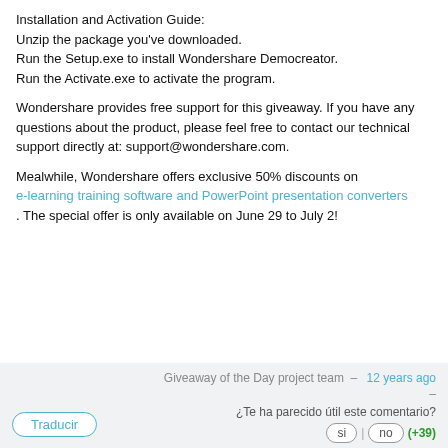Installation and Activation Guide:
Unzip the package you've downloaded.
Run the Setup.exe to install Wondershare Democreator.
Run the Activate.exe to activate the program.
Wondershare provides free support for this giveaway. If you have any questions about the product, please feel free to contact our technical support directly at: support@wondershare.com.
Mealwhile, Wondershare offers exclusive 50% discounts on e-learning training software and PowerPoint presentation converters . The special offer is only available on June 29 to July 2!
Giveaway of the Day project team – 12 years ago
–
Traducir
¿Te ha parecido útil este comentario?
si | no (+39)